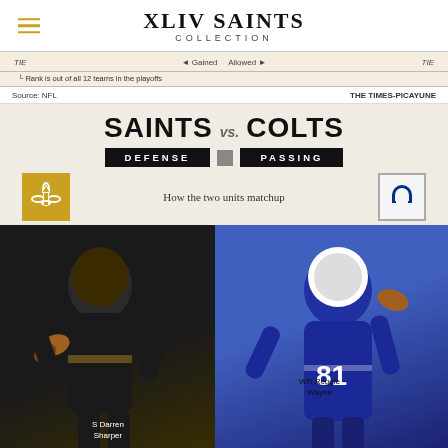XLIV SAINTS COLLECTION
TIE   ◄ Gained   Allowed ►   TIE
└ Rank is out of all 12 teams in the playoffs
Source: NFL   THE TIMES-PICAYUNE
[Figure (infographic): Saints vs. Colts Defense vs. Passing matchup infographic showing two football players — S Darren Sharper (Saints, left) and WR Reggie Wayne (Colts, right) — with Saints and Colts logos. Title: SAINTS vs. COLTS, DEFENSE vs. PASSING. Caption: How the two units matchup.]